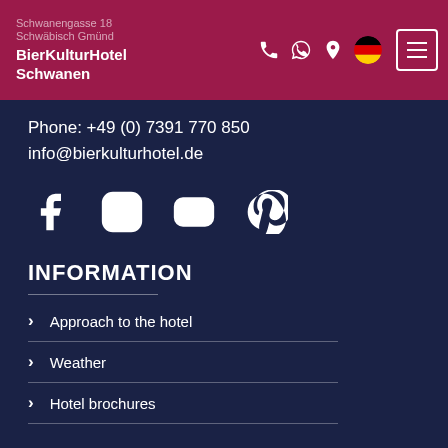BierKulturHotel Schwanen
Phone: +49 (0) 7391 770 850
info@bierkulturhotel.de
[Figure (infographic): Social media icons: Facebook, Instagram, YouTube, Pinterest]
INFORMATION
Approach to the hotel
Weather
Hotel brochures